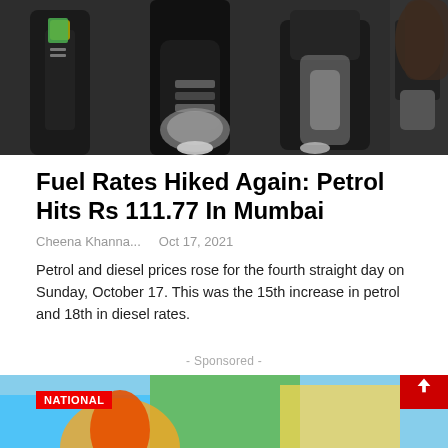[Figure (photo): Close-up photograph of fuel pump nozzles at a petrol station, showing metallic dispensing equipment]
Fuel Rates Hiked Again: Petrol Hits Rs 111.77 In Mumbai
Cheena Khanna...  Oct 17, 2021
Petrol and diesel prices rose for the fourth straight day on Sunday, October 17. This was the 15th increase in petrol and 18th in diesel rates.
- Sponsored -
[Figure (photo): Partial bottom image with NATIONAL tag label, showing a colorful background, with a red scroll-to-top button on the right]